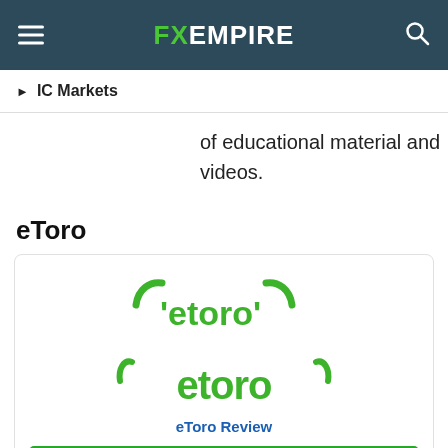FX EMPIRE
IC Markets
of educational material and videos.
eToro
[Figure (logo): eToro logo — green bull horns with 'etoro' text]
eToro Review
Visit Broker
68% of retail CFD investors lose money